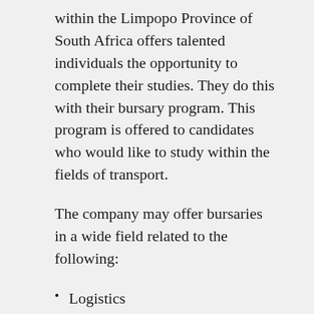within the Limpopo Province of South Africa offers talented individuals the opportunity to complete their studies. They do this with their bursary program. This program is offered to candidates who would like to study within the fields of transport.
The company may offer bursaries in a wide field related to the following:
Logistics
Transport
GREAT NORTH TRANSPORT BURSARY REQUIREMENTS